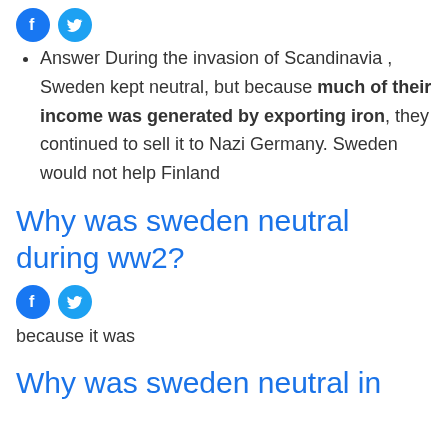[Figure (other): Social media share icons: Facebook (blue circle with F) and Twitter (blue circle with bird/T)]
Answer During the invasion of Scandinavia , Sweden kept neutral, but because much of their income was generated by exporting iron, they continued to sell it to Nazi Germany. Sweden would not help Finland
Why was sweden neutral during ww2?
[Figure (other): Social media share icons: Facebook (blue circle with F) and Twitter (blue circle with bird/T)]
because it was
Why was sweden neutral in